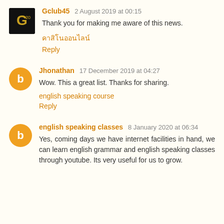Gclub45  2 August 2019 at 00:15
Thank you for making me aware of this news.
คาสิโนออนไลน์
Reply
Jhonathan  17 December 2019 at 04:27
Wow. This a great list. Thanks for sharing.
english speaking course
Reply
english speaking classes  8 January 2020 at 06:34
Yes, coming days we have internet facilities in hand, we can learn english grammar and english speaking classes through youtube. Its very useful for us to grow.